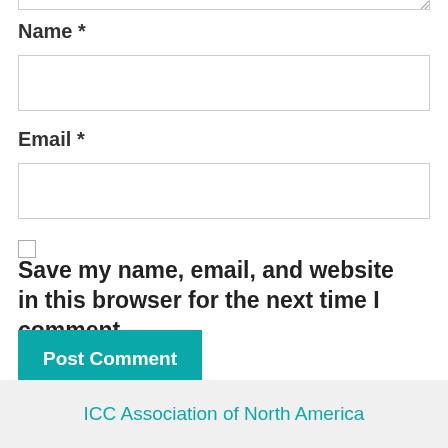Name *
Email *
Save my name, email, and website in this browser for the next time I comment.
Post Comment
ICC Association of North America